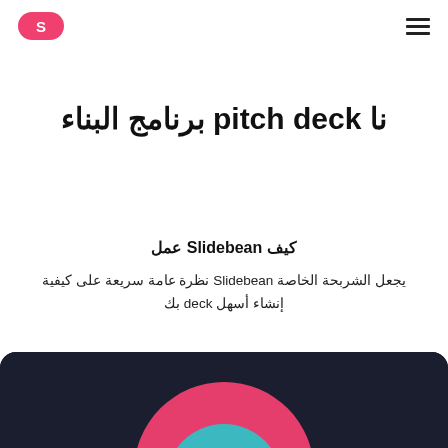S (Slidebean logo) | hamburger menu
نا pitch deck برنامج البناء
كيف Slidebean عمل
يجعل الشربحة الخاصة Slidebean نظرة عامة سريعة على كيفية إنشاء أسهل deck بك
[Figure (illustration): Dark navy background with colorful circular graphic elements (pink and teal circles) visible at the bottom of the page]